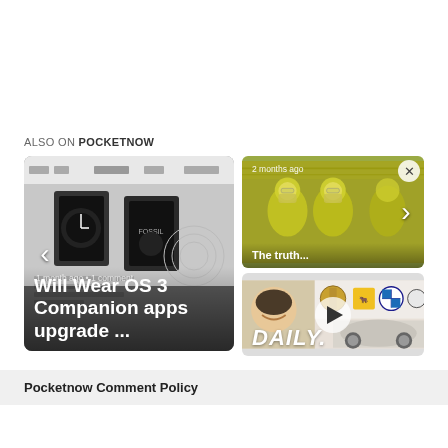ALSO ON POCKETNOW
[Figure (screenshot): Card showing Fossil smartwatch app interface with text overlay: 'Will Wear OS 3 Companion apps upgrade ...' and timestamp '1 month ago • 1 comment']
[Figure (photo): Card showing workers in clean room suits in a yellow-tinted industrial facility, timestamp '2 months ago']
[Figure (screenshot): Pocketnow Daily video thumbnail with presenter, car logos (Porsche, Lamborghini, BMW, Mercedes), classic car, and 'DAILY.' text overlay]
Pocketnow Comment Policy